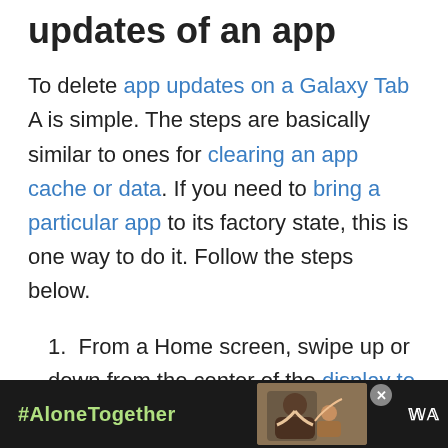updates of an app
To delete app updates on a Galaxy Tab A is simple. The steps are basically similar to ones for clearing an app cache or data. If you need to bring a particular app to its factory state, this is one way to do it. Follow the steps below.
From a Home screen, swipe up or down from the center of the display to access the Apps screen
[Figure (photo): Advertisement banner at bottom of page showing #AloneTogether text in green on dark background, a photo of a man waving with a child, a close button, and a logo on the right]